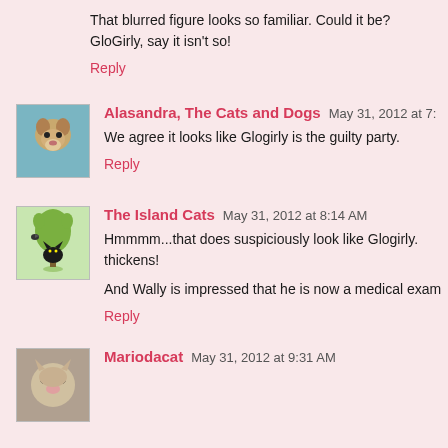That blurred figure looks so familiar. Could it be? GloGirly, say it isn't so!
Reply
Alasandra, The Cats and Dogs  May 31, 2012 at 7:
We agree it looks like Glogirly is the guilty party.
Reply
The Island Cats  May 31, 2012 at 8:14 AM
Hmmmm...that does suspiciously look like Glogirly. thickens!
And Wally is impressed that he is now a medical exam
Reply
Mariodacat  May 31, 2012 at 9:31 AM